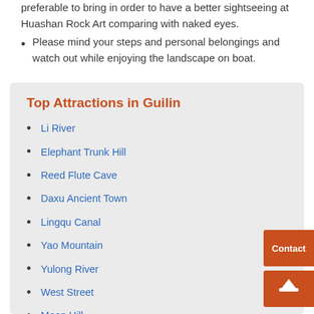preferable to bring in order to have a better sightseeing at Huashan Rock Art comparing with naked eyes.
Please mind your steps and personal belongings and watch out while enjoying the landscape on boat.
Top Attractions in Guilin
Li River
Elephant Trunk Hill
Reed Flute Cave
Daxu Ancient Town
Lingqu Canal
Yao Mountain
Yulong River
West Street
Moon Hill
Xingping Ancient Town
Xianggong Hill
Impression Sanjie Liu